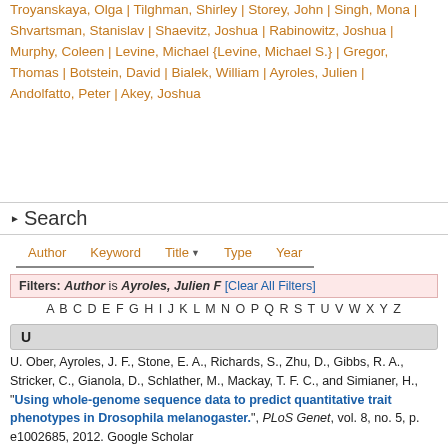Troyanskaya, Olga | Tilghman, Shirley | Storey, John | Singh, Mona | Shvartsman, Stanislav | Shaevitz, Joshua | Rabinowitz, Joshua | Murphy, Coleen | Levine, Michael {Levine, Michael S.} | Gregor, Thomas | Botstein, David | Bialek, William | Ayroles, Julien | Andolfatto, Peter | Akey, Joshua
Search
Author   Keyword   Title▼   Type   Year
Filters: Author is Ayroles, Julien F [Clear All Filters]
A B C D E F G H I J K L M N O P Q R S T U V W X Y Z
U
U. Ober, Ayroles, J. F., Stone, E. A., Richards, S., Zhu, D., Gibbs, R. A., Stricker, C., Gianola, D., Schlather, M., Mackay, T. F. C., and Simianer, H., "Using whole-genome sequence data to predict quantitative trait phenotypes in Drosophila melanogaster.", PLoS Genet, vol. 8, no. 5, p. e1002685, 2012. Google Scholar
T
A. C. Edwards, Ayroles, J. F., Stone, E. A., Carbone, M. Anna, Lyman,